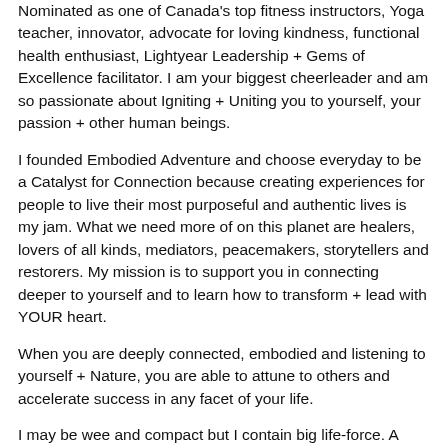Nominated as one of Canada's top fitness instructors, Yoga teacher, innovator, advocate for loving kindness, functional health enthusiast, Lightyear Leadership + Gems of Excellence facilitator. I am your biggest cheerleader and am so passionate about Igniting + Uniting you to yourself, your passion + other human beings.
I founded Embodied Adventure and choose everyday to be a Catalyst for Connection because creating experiences for people to live their most purposeful and authentic lives is my jam. What we need more of on this planet are healers, lovers of all kinds, mediators, peacemakers, storytellers and restorers. My mission is to support you in connecting deeper to yourself and to learn how to transform + lead with YOUR heart.
When you are deeply connected, embodied and listening to yourself + Nature, you are able to attune to others and accelerate success in any facet of your life.
I may be wee and compact but I contain big life-force. A juicy conversation and well heated latte bring light to my world even on the darkest day. My nickname is "Gypsy Jess" and I play a mean hand of Angel Cards (mean, like,